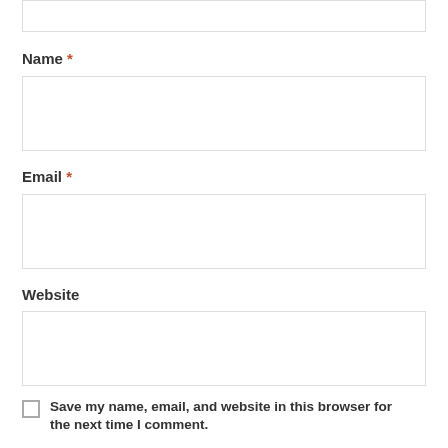[top input box — partial, cropped at top]
Name *
[Figure (other): Empty text input field for Name]
Email *
[Figure (other): Empty text input field for Email]
Website
[Figure (other): Empty text input field for Website]
Save my name, email, and website in this browser for the next time I comment.
Post Comment